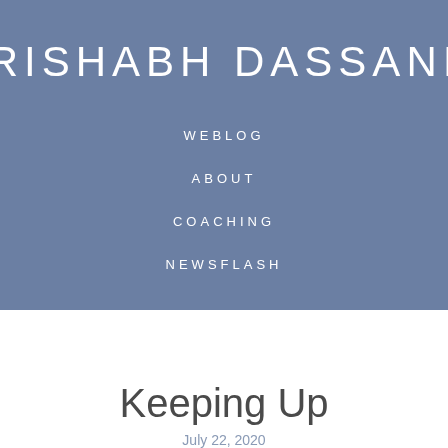RISHABH DASSANI
WEBLOG
ABOUT
COACHING
NEWSFLASH
Keeping Up
July 22, 2020